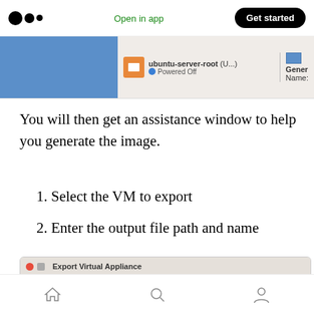Open in app  Get started
[Figure (screenshot): VirtualBox VM manager showing ubuntu-server-root VM powered off, with General panel showing Name field]
You will then get an assistance window to help you generate the image.
1. Select the VM to export
2. Enter the output file path and name
[Figure (screenshot): Export Virtual Appliance dialog showing Storage settings section with text: Please choose a filename to export the OVF/OVA to.]
Home  Search  Profile